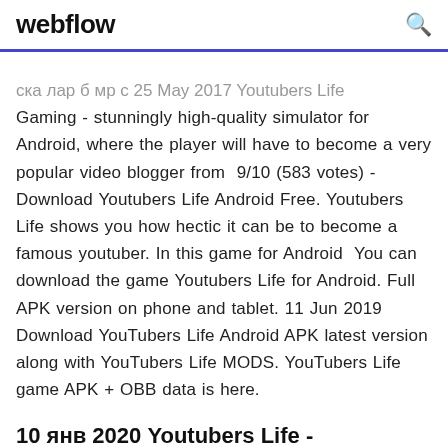webflow
ска лар б мр с 25 May 2017  Youtubers Life Gaming - stunningly high-quality simulator for Android, where the player will have to become a very popular video blogger from  9/10 (583 votes) - Download Youtubers Life Android Free. Youtubers Life shows you how hectic it can be to become a famous youtuber. In this game for Android  You can download the game Youtubers Life for Android. Full APK version on phone and tablet. 11 Jun 2019 Download YouTubers Life Android APK latest version along with YouTubers Life MODS. YouTubers Life game APK + OBB data is here.
10 янв 2020 Youtubers Life -